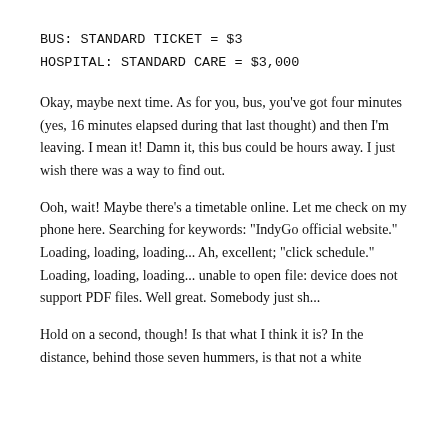BUS: STANDARD TICKET = $3
HOSPITAL: STANDARD CARE = $3,000
Okay, maybe next time. As for you, bus, you’ve got four minutes (yes, 16 minutes elapsed during that last thought) and then I’m leaving. I mean it! Damn it, this bus could be hours away. I just wish there was a way to find out.
Ooh, wait! Maybe there’s a timetable online. Let me check on my phone here. Searching for keywords: “IndyGo official website.” Loading, loading, loading... Ah, excellent; “click schedule.” Loading, loading, loading... unable to open file: device does not support PDF files. Well great. Somebody just sh...
Hold on a second, though! Is that what I think it is? In the distance, behind those seven hummers, is that not a white